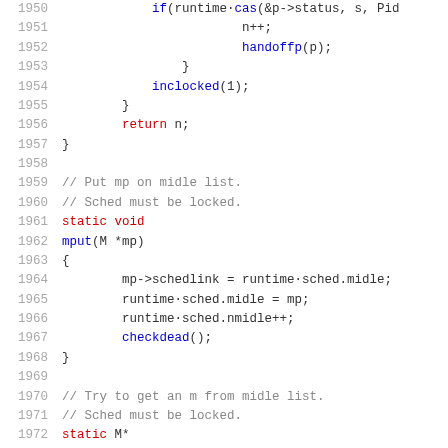Source code listing lines 1950-1972, Go/C runtime scheduler code
1950: if(runtime·cas(&p->status, s, Pid
1951: n++;
1952: handoffp(p);
1953: }
1954: inclocked(1);
1955: }
1956: return n;
1957: }
1958:
1959: // Put mp on midle list.
1960: // Sched must be locked.
1961: static void
1962: mput(M *mp)
1963: {
1964:  mp->schedlink = runtime·sched.midle;
1965:  runtime·sched.midle = mp;
1966:  runtime·sched.nmidle++;
1967:  checkdead();
1968: }
1969:
1970: // Try to get an m from midle list.
1971: // Sched must be locked.
1972: static M*